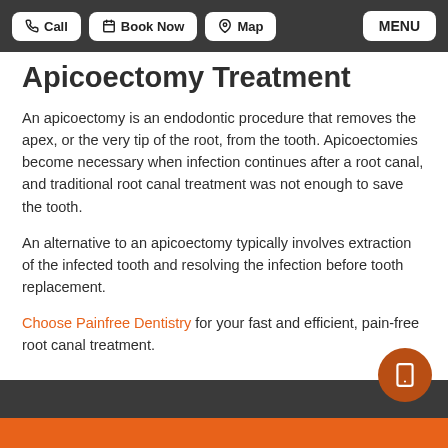Call  Book Now  Map  MENU
Apicoectomy Treatment
An apicoectomy is an endodontic procedure that removes the apex, or the very tip of the root, from the tooth. Apicoectomies become necessary when infection continues after a root canal, and traditional root canal treatment was not enough to save the tooth.
An alternative to an apicoectomy typically involves extraction of the infected tooth and resolving the infection before tooth replacement.
Choose Painfree Dentistry for your fast and efficient, pain-free root canal treatment.